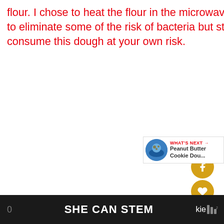flour. I chose to heat the flour in the microwave to eliminate some of the risk of bacteria but still consume this dough at your own risk.
[Figure (infographic): Social share widget showing 6.1K shares with Facebook button, heart/like button, 6.1K count button, and share+ button, all in gold/yellow color scheme]
If you are looking for more easy dessert recipes check
[Figure (infographic): "What's Next" overlay showing a circular image of a bowl of peanut butter cookie dough with text 'Peanut Butter Cookie Dou...']
0   SHE CAN STEM   kie